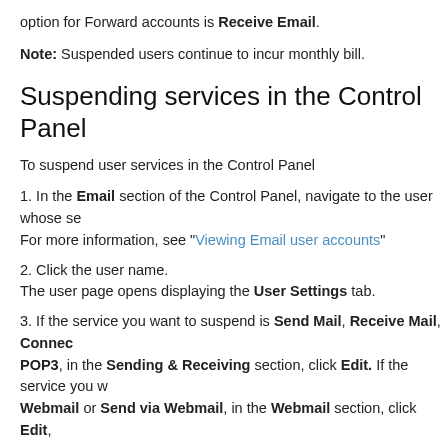option for Forward accounts is Receive Email.
Note: Suspended users continue to incur monthly bill.
Suspending services in the Control Panel
To suspend user services in the Control Panel
1. In the Email section of the Control Panel, navigate to the user whose se… For more information, see "Viewing Email user accounts"
2. Click the user name.
The user page opens displaying the User Settings tab.
3. If the service you want to suspend is Send Mail, Receive Mail, Connec… POP3, in the Sending & Receiving section, click Edit. If the service you w… Webmail or Send via Webmail, in the Webmail section, click Edit,
4. From the service's drop-down list, choose Suspended.
5. Click Save.
Service Suspended: